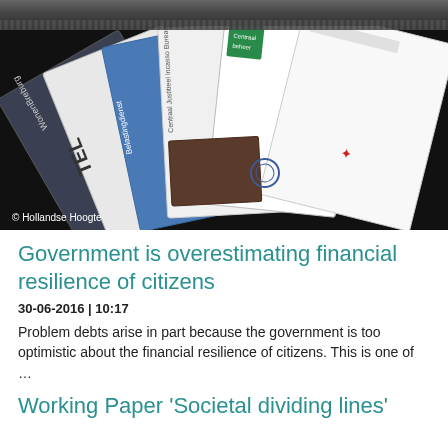[Figure (photo): A mailbox slot with multiple envelopes and letters from various senders being pushed through, viewed from the front. Photo credit: Hollandse Hoogte.]
© Hollandse Hoogte
Government is overestimating financial resilience of citizens
30-06-2016 | 10:17
Problem debts arise in part because the government is too optimistic about the financial resilience of citizens. This is one of …
Working Paper 'Societal dividing lines'